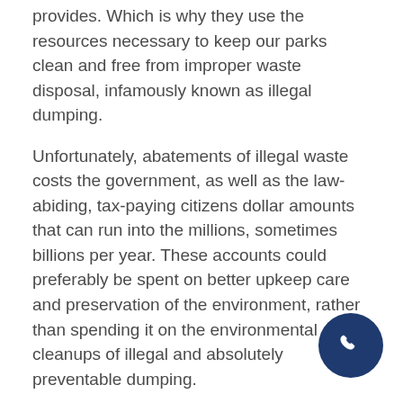provides.  Which is why they use the resources necessary to keep our parks clean and free from improper waste disposal, infamously known as illegal dumping.
Unfortunately, abatements of illegal waste costs the government, as well as the law-abiding, tax-paying citizens dollar amounts that can run into the millions, sometimes billions per year.   These accounts could preferably be spent on better upkeep care and preservation of the environment, rather than spending it on the environmental cleanups of illegal and absolutely preventable dumping.
Parks Directors understand that garbage, dumped illegally by thoughtless individuals, harms the environment.  If debris is dumped at a publicly accessible area, this can be dangerous to people.  It